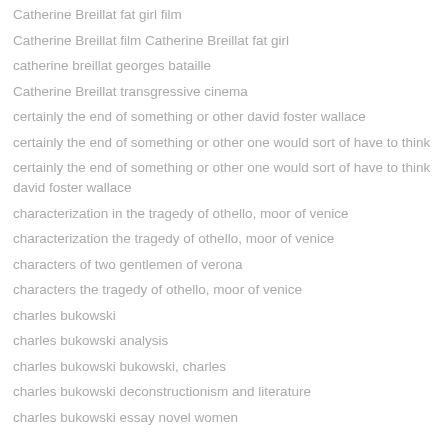Catherine Breillat fat girl film
Catherine Breillat film Catherine Breillat fat girl
catherine breillat georges bataille
Catherine Breillat transgressive cinema
certainly the end of something or other david foster wallace
certainly the end of something or other one would sort of have to think
certainly the end of something or other one would sort of have to think david foster wallace
characterization in the tragedy of othello, moor of venice
characterization the tragedy of othello, moor of venice
characters of two gentlemen of verona
characters the tragedy of othello, moor of venice
charles bukowski
charles bukowski analysis
charles bukowski bukowski, charles
charles bukowski deconstructionism and literature
charles bukowski essay novel women